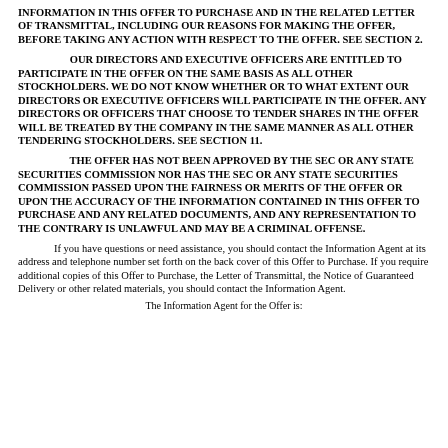INFORMATION IN THIS OFFER TO PURCHASE AND IN THE RELATED LETTER OF TRANSMITTAL, INCLUDING OUR REASONS FOR MAKING THE OFFER, BEFORE TAKING ANY ACTION WITH RESPECT TO THE OFFER. SEE SECTION 2.
OUR DIRECTORS AND EXECUTIVE OFFICERS ARE ENTITLED TO PARTICIPATE IN THE OFFER ON THE SAME BASIS AS ALL OTHER STOCKHOLDERS. WE DO NOT KNOW WHETHER OR TO WHAT EXTENT OUR DIRECTORS OR EXECUTIVE OFFICERS WILL PARTICIPATE IN THE OFFER. ANY DIRECTORS OR OFFICERS THAT CHOOSE TO TENDER SHARES IN THE OFFER WILL BE TREATED BY THE COMPANY IN THE SAME MANNER AS ALL OTHER TENDERING STOCKHOLDERS. SEE SECTION 11.
THE OFFER HAS NOT BEEN APPROVED BY THE SEC OR ANY STATE SECURITIES COMMISSION NOR HAS THE SEC OR ANY STATE SECURITIES COMMISSION PASSED UPON THE FAIRNESS OR MERITS OF THE OFFER OR UPON THE ACCURACY OF THE INFORMATION CONTAINED IN THIS OFFER TO PURCHASE AND ANY RELATED DOCUMENTS, AND ANY REPRESENTATION TO THE CONTRARY IS UNLAWFUL AND MAY BE A CRIMINAL OFFENSE.
If you have questions or need assistance, you should contact the Information Agent at its address and telephone number set forth on the back cover of this Offer to Purchase. If you require additional copies of this Offer to Purchase, the Letter of Transmittal, the Notice of Guaranteed Delivery or other related materials, you should contact the Information Agent.
The Information Agent for the Offer is: